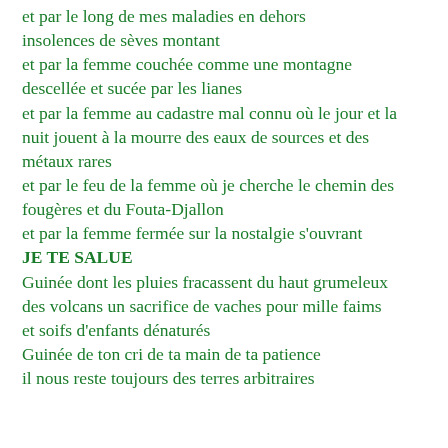et par le long de mes maladies en dehors insolences de sèves montant et par la femme couchée comme une montagne descellée et sucée par les lianes et par la femme au cadastre mal connu où le jour et la nuit jouent à la mourre des eaux de sources et des métaux rares et par le feu de la femme où je cherche le chemin des fougères et du Fouta-Djallon et par la femme fermée sur la nostalgie s'ouvrant JE TE SALUE Guinée dont les pluies fracassent du haut grumeleux des volcans un sacrifice de vaches pour mille faims et soifs d'enfants dénaturés Guinée de ton cri de ta main de ta patience il nous reste toujours des terres arbitraires